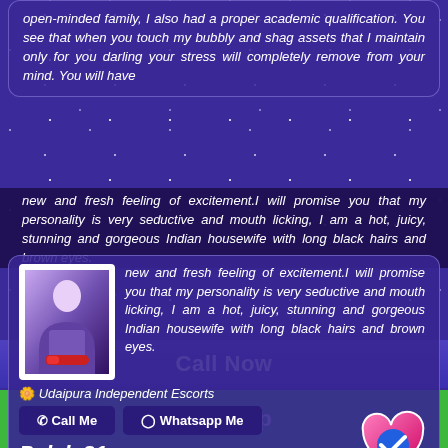open-minded family, I also had a proper academic qualification. You see that when you touch my bubbly and shag assets that I maintain only for you darling your stress will completely remove from your mind. You will have new and fresh feeling of excitement.I will promise you that my personality is very seductive and mouth licking, I am a hot, juicy, stunning and gorgeous Indian housewife with long black hairs and brown eyes.
🌼 Udaipura Independent Escorts
Call Me  |  Whatsapp Me
Palak 21
Teen Escorts
Udaipura Road, Udaipura
Call Now
Whatsup